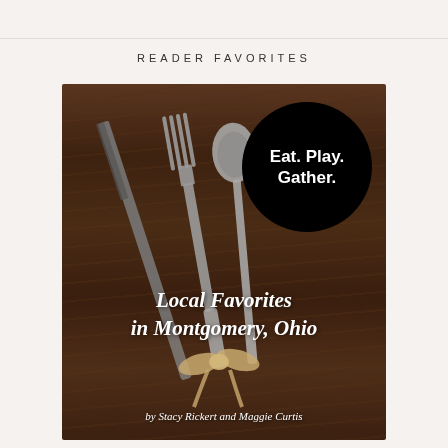READER FAVORITES
[Figure (illustration): Book cover for 'Eat. Play. Gather. Local Favorites in Montgomery, Ohio' by Stacy Rickert and Maggie Curtis. Dark wood background with silver cutlery (knife, fork, spoon) tied with twine ribbon, and a black circle badge with white bold text 'Eat. Play. Gather.' White italic text overlay reads 'Local Favorites in Montgomery, Ohio' and 'by Stacy Rickert and Maggie Curtis'.]